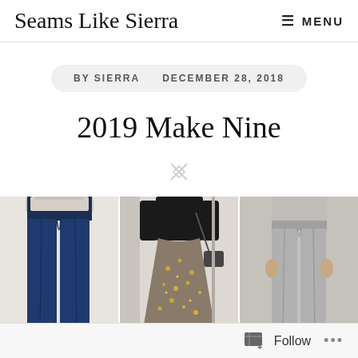Seams Like Sierra    ≡ MENU
BY SIERRA   DECEMBER 28, 2018
2019 Make Nine
[Figure (photo): A collage of three fashion photos showing: (1) a person wearing dark blue skinny jeans, (2) a person in a black top with a sparkly/sequined skirt and carrying a bag, (3) a person wearing gray leggings.]
Follow ...